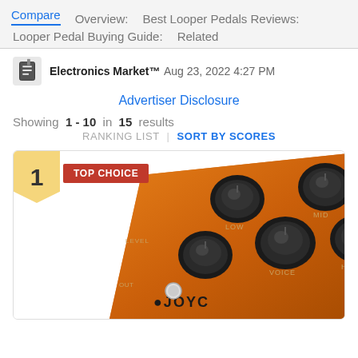Compare | Overview: | Best Looper Pedals Reviews: | Looper Pedal Buying Guide: | Related
Electronics Market™  Aug 23, 2022 4:27 PM
Advertiser Disclosure
Showing 1 - 10 in 15 results
RANKING LIST | SORT BY SCORES
[Figure (photo): Orange JOYO guitar effects pedal with multiple black knobs labeled LOW, MID, HIGH, LEVEL, VOICE, with number 1 badge and TOP CHOICE label]